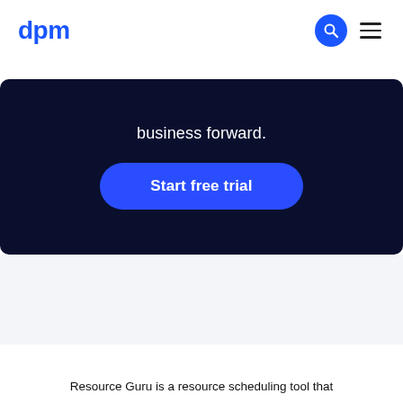dpm
business forward.
Start free trial
Resource Guru is a resource scheduling tool that